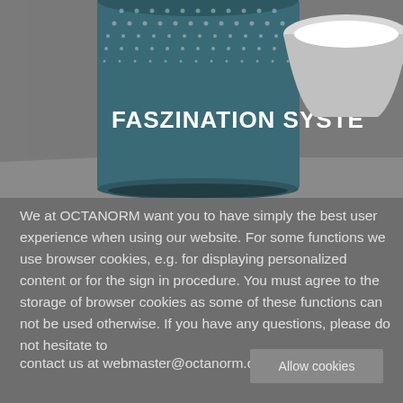[Figure (photo): Product photo showing a cylindrical teal/dark-teal display stand with 'FASZINATION SYSTEM' text in white bold letters, with dotted pattern at top. A lamp shade is partially visible on the right. Grey background resembling an exhibition or showroom environment.]
We at OCTANORM want you to have simply the best user experience when using our website. For some functions we use browser cookies, e.g. for displaying personalized content or for the sign in procedure. You must agree to the storage of browser cookies as some of these functions can not be used otherwise. If you have any questions, please do not hesitate to
contact us at webmaster@octanorm.de